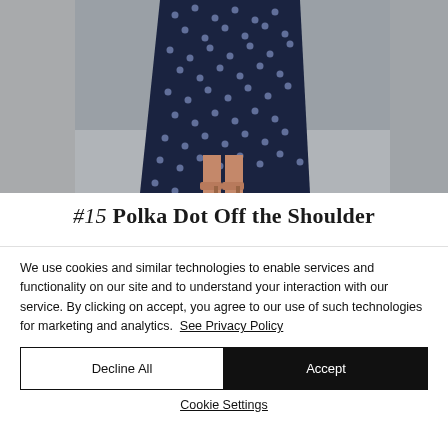[Figure (photo): A person wearing a navy blue polka dot off-the-shoulder maxi dress with tan heeled sandals, standing against a grey wall. The photo is cropped showing from the torso down.]
#15 Polka Dot Off the Shoulder
We use cookies and similar technologies to enable services and functionality on our site and to understand your interaction with our service. By clicking on accept, you agree to our use of such technologies for marketing and analytics.  See Privacy Policy
Decline All
Accept
Cookie Settings